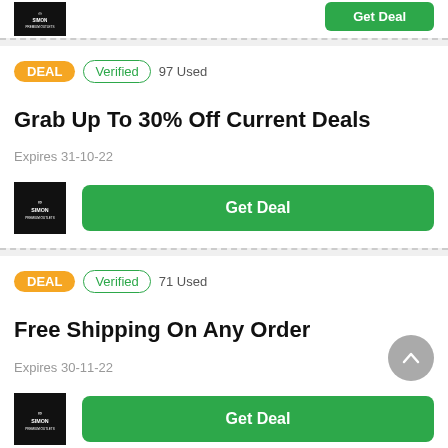[Figure (logo): Simon Premium Outlets black logo, partial card top]
DEAL  Verified  97 Used
Grab Up To 30% Off Current Deals
Expires 31-10-22
[Figure (logo): Simon Premium Outlets black logo]
Get Deal
DEAL  Verified  71 Used
Free Shipping On Any Order
Expires 30-11-22
[Figure (logo): Simon Premium Outlets black logo]
Get Deal
DEAL  Verified  38 Used